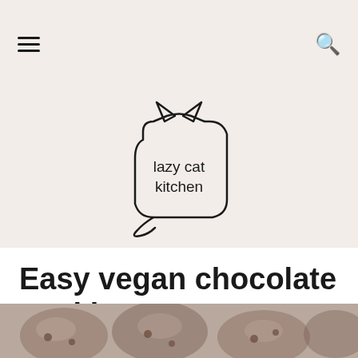Navigation header with hamburger menu and search icon
[Figure (logo): Lazy Cat Kitchen logo — outline of a cat sitting inside a rounded square shape, with text 'lazy cat kitchen' inside]
Easy vegan chocolate cookies
REVIEW RECIPE ✏ ↓ JUMP TO RECIPE
AQUAFABA
BAKING
CHOCOLATE
COMFORT FOOD
EASY
GLUTEN-FREE
[Figure (photo): Partial photo of vegan chocolate cookies at the bottom of the page]